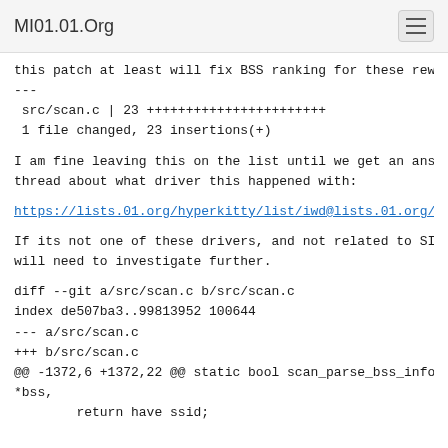MI01.01.Org
this patch at least will fix BSS ranking for these rew
---
 src/scan.c | 23 +++++++++++++++++++++++++
 1 file changed, 23 insertions(+)
I am fine leaving this on the list until we get an ans
thread about what driver this happened with:
https://lists.01.org/hyperkitty/list/iwd@lists.01.org/
If its not one of these drivers, and not related to SI
will need to investigate further.
diff --git a/src/scan.c b/src/scan.c
index de507ba3..99813952 100644
--- a/src/scan.c
+++ b/src/scan.c
@@ -1372,6 +1372,22 @@ static bool scan_parse_bss_info
*bss,
        return have ssid;